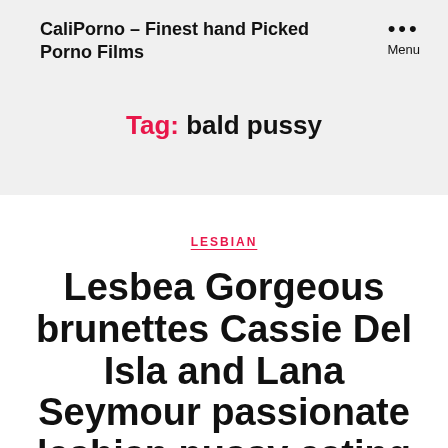CaliPorno - Finest hand Picked Porno Films
Tag: bald pussy
LESBIAN
Lesbea Gorgeous brunettes Cassie Del Isla and Lana Seymour passionate lesbian pussy eating